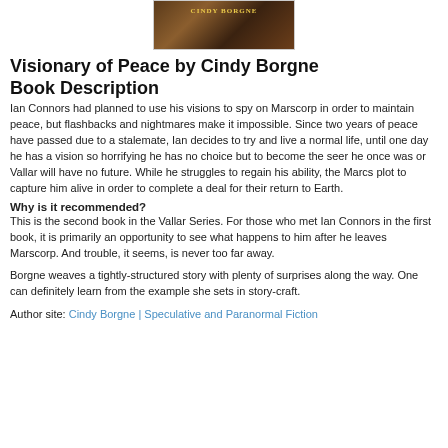[Figure (photo): Book cover image for Visionary of Peace by Cindy Borgne, showing a dark reddish-brown landscape with gold text reading CINDY BORGNE]
Visionary of Peace by Cindy Borgne Book Description
Ian Connors had planned to use his visions to spy on Marscorp in order to maintain peace, but flashbacks and nightmares make it impossible. Since two years of peace have passed due to a stalemate, Ian decides to try and live a normal life, until one day he has a vision so horrifying he has no choice but to become the seer he once was or Vallar will have no future. While he struggles to regain his ability, the Marcs plot to capture him alive in order to complete a deal for their return to Earth.
Why is it recommended?
This is the second book in the Vallar Series. For those who met Ian Connors in the first book, it is primarily an opportunity to see what happens to him after he leaves Marscorp. And trouble, it seems, is never too far away.
Borgne weaves a tightly-structured story with plenty of surprises along the way. One can definitely learn from the example she sets in story-craft.
Author site: Cindy Borgne | Speculative and Paranormal Fiction